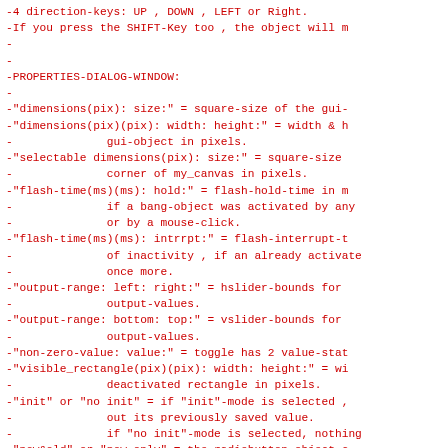-4 direction-keys: UP , DOWN , LEFT or Right.
-If you press the SHIFT-Key too , the object will m
-
-
-PROPERTIES-DIALOG-WINDOW:
-
-"dimensions(pix): size:" = square-size of the gui-
-"dimensions(pix)(pix): width: height:" = width & h
-              gui-object in pixels.
-"selectable dimensions(pix): size:" = square-size
-              corner of my_canvas in pixels.
-"flash-time(ms)(ms): hold:" = flash-hold-time in m
-              if a bang-object was activated by any
-              or by a mouse-click.
-"flash-time(ms)(ms): intrrpt:" = flash-interrupt-t
-              of inactivity , if an already activate
-              once more.
-"output-range: left: right:" = hslider-bounds for
-              output-values.
-"output-range: bottom: top:" = vslider-bounds for
-              output-values.
-"non-zero-value: value:" = toggle has 2 value-stat
-"visible_rectangle(pix)(pix): width: height:" = wi
-              deactivated rectangle in pixels.
-"init" or "no init" = if "init"-mode is selected ,
-              out its previously saved value.
-              if "no init"-mode is selected, nothing
-"new&old" or "new-only" = the radiobutton-object c
-              "new&old"-mode: output sends previous
-              "new-only"-mode: output sends only cur
-"number:" = number of buttons of a radiobutt